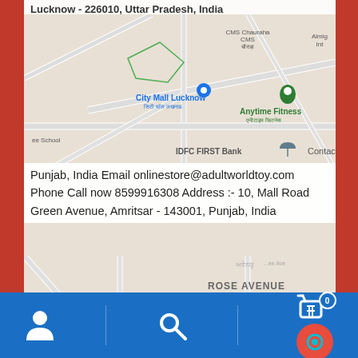[Figure (map): Google Maps screenshot showing area around City Mall Lucknow with CMS Chauraha, Anytime Fitness, IDFC FIRST Bank labels and map roads]
Punjab, India Email onlinestore@adultworldtoy.com Phone Call now 8599916308 Address :- 10, Mall Road Green Avenue, Amritsar - 143001, Punjab, India
[Figure (map): Google Maps screenshot showing Rose Avenue, Passport Seva Kendra, Mohindra Colony area in Amritsar with Mall Rd label]
[Figure (screenshot): Mobile app bottom navigation bar with user/account icon, search icon, shopping cart with badge 0, and chat/support button]